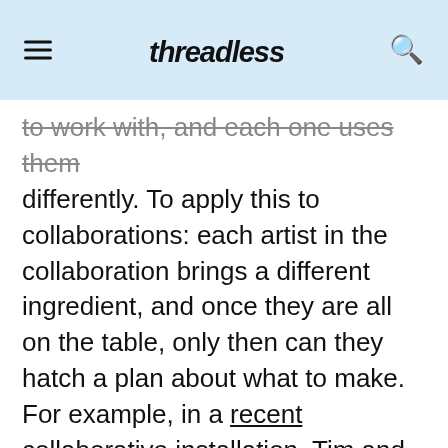Threadless
to work with, and each one uses them differently. To apply this to collaborations: each artist in the collaboration brings a different ingredient, and once they are all on the table, only then can they hatch a plan about what to make. For example, in a recent collaborative installation, Tim and two other artists—Melissa Wagner-Lawler and Angela Zammarelli—each brought pre-made paper objects to the gallery without telling each other what they were going to bring. Once there, each artist swapped objects and remade them, finally installing as a group for the final show. Essentially, each artist brought a mystery basket and handed it over to